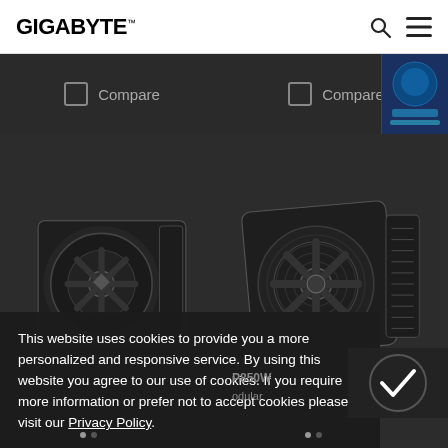GIGABYTE
[Figure (screenshot): Two GIGABYTE power supply units displayed in a dark product grid layout with Compare checkboxes, a cookie consent notice overlay at the bottom, and navigation icons (search, menu) in the header.]
This website uses cookies to provide you a more personalized and responsive service. By using this website you agree to our use of cookies. If you require more information or prefer not to accept cookies please visit our Privacy Policy.